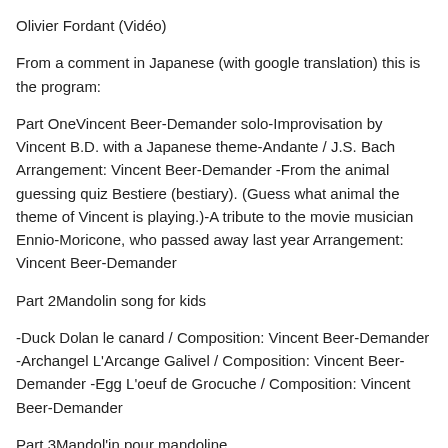Olivier Fordant (Vidéo)
From a comment in Japanese (with google translation) this is the program:
Part OneVincent Beer-Demander solo-Improvisation by Vincent B.D. with a Japanese theme-Andante / J.S. Bach Arrangement: Vincent Beer-Demander -From the animal guessing quiz Bestiere (bestiary). (Guess what animal the theme of Vincent is playing.)-A tribute to the movie musician Ennio-Moricone, who passed away last year Arrangement: Vincent Beer-Demander
Part 2Mandolin song for kids
-Duck Dolan le canard / Composition: Vincent Beer-Demander -Archangel L'Arcange Galivel / Composition: Vincent Beer-Demander -Egg L'oeuf de Grocuche / Composition: Vincent Beer-Demander
Part 3Mandol'in pour mandoline
-Le verre de cocadine Coke's cup Composition: Vincent Beer-Demander -La ...